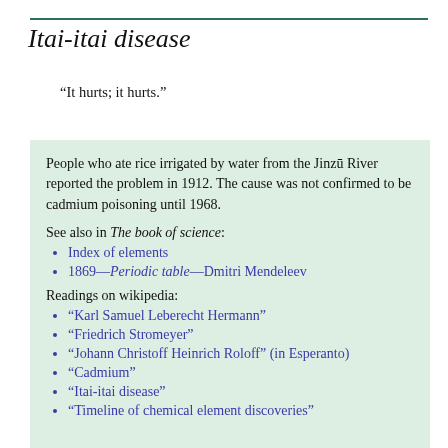Itai-itai disease
“It hurts; it hurts.”
People who ate rice irrigated by water from the Jinzū River reported the problem in 1912. The cause was not confirmed to be cadmium poisoning until 1968.
See also in The book of science:
Index of elements
1869—Periodic table—Dmitri Mendeleev
Readings on wikipedia:
“Karl Samuel Leberecht Hermann”
“Friedrich Stromeyer”
“Johann Christoff Heinrich Roloff” (in Esperanto)
“Cadmium”
“Itai-itai disease”
“Timeline of chemical element discoveries”